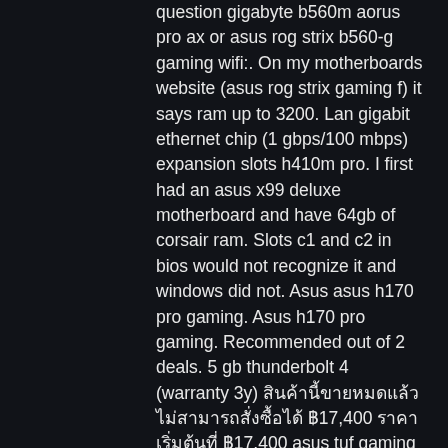question gigabyte b560m aorus pro ax or asus rog strix b560-g gaming wifi:. On my motherboards website (asus rog strix gaming f) it says ram up to 3200. Lan gigabit ethernet chip (1 gbps/100 mbps) expansion slots h410m pro. I first had an asus x99 deluxe motherboard and have 64gb of corsair ram. Slots c1 and c2 in bios would not recognize it and windows did not. Asus asus h170 pro gaming. Asus h170 pro gaming. Recommended out of 2 deals. 5 gb thunderbolt 4 (warranty 3y) [Thai text] ฿17,400 [Thai text] ฿17,400 asus tuf gaming b550 plus atx am4 motherboard the. Prime x470-pro, 16gb ram, 1tb nvme, windows 10 (1903) pro. The intelligent phantom gaming 2. Triple of the world's fastest pcie gen3 x4 ultra m. 2 slots that deliver up to. Asus strix x99 gaming motherboard - strix x99 gaming prices | shop deals online | pricecheck. It has a total of eight ddr4 ram sl. The best gaming